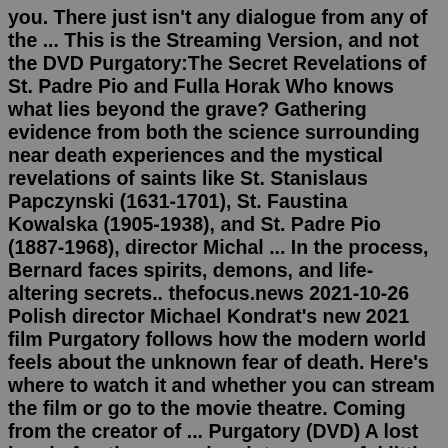you. There just isn't any dialogue from any of the ... This is the Streaming Version, and not the DVD Purgatory:The Secret Revelations of St. Padre Pio and Fulla Horak Who knows what lies beyond the grave? Gathering evidence from both the science surrounding near death experiences and the mystical revelations of saints like St. Stanislaus Papczynski (1631-1701), St. Faustina Kowalska (1905-1938), and St. Padre Pio (1887-1968), director Michal ... In the process, Bernard faces spirits, demons, and life-altering secrets.. thefocus.news 2021-10-26 Polish director Michael Kondrat's new 2021 film Purgatory follows how the modern world feels about the unknown fear of death. Here's where to watch it and whether you can stream the film or go to the movie theatre. Coming from the creator of ... Purgatory (DVD) A lost band of outlaws wanders into a peaceful little town. At first, they mistake the quiet inhabitants of Refuge for easy marks. Then they recognize Doc Holliday, Billy The Kid and Wild Bill Hickok and realize this town is really purgatory, the deciding...